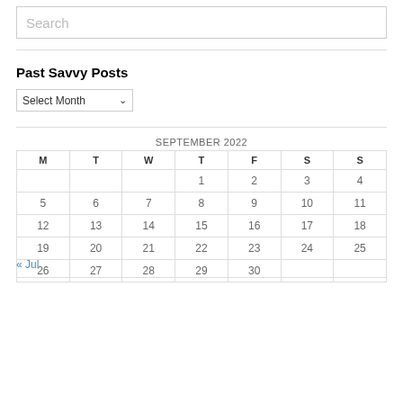Search
Past Savvy Posts
Select Month
| M | T | W | T | F | S | S |
| --- | --- | --- | --- | --- | --- | --- |
|  |  |  | 1 | 2 | 3 | 4 |
| 5 | 6 | 7 | 8 | 9 | 10 | 11 |
| 12 | 13 | 14 | 15 | 16 | 17 | 18 |
| 19 | 20 | 21 | 22 | 23 | 24 | 25 |
| 26 | 27 | 28 | 29 | 30 |  |  |
« Jul